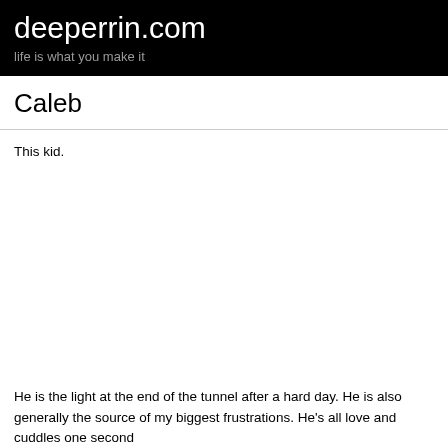deeperrin.com
life is what you make it
Caleb
This kid.
He is the light at the end of the tunnel after a hard day. He is also generally the source of my biggest frustrations. He's all love and cuddles one second